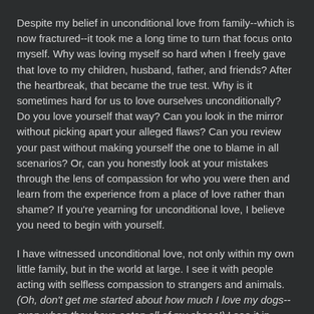Despite my belief in unconditional love from family--which is now fractured--it took me a long time to turn that focus onto myself. Why was loving myself so hard when I freely gave that love to my children, husband, father, and friends? After the heartbreak, that became the true test. Why is it sometimes hard for us to love ourselves unconditionally? Do you love yourself that way? Can you look in the mirror without picking apart your alleged flaws? Can you review your past without making yourself the one to blame in all scenarios? Or, can you honestly look at your mistakes through the lens of compassion for who you were then and learn from the experience from a place of love rather than shame? If you're yearning for unconditional love, I believe you need to begin with yourself.
I have witnessed unconditional love, not only within my own little family, but in the world at large. I see it with people acting with selfless compassion to strangers and animals. (Oh, don't get me started about how much I love my dogs--even when they have eaten all of my shoes!) I see it in couples who have remained married despite outrageous